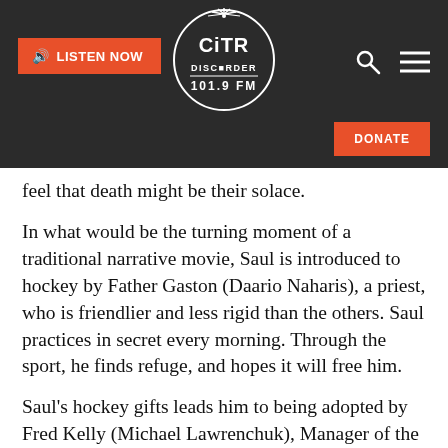CiTR Discorder 101.9 FM — LISTEN NOW | DONATE
feel that death might be their solace.
In what would be the turning moment of a traditional narrative movie, Saul is introduced to hockey by Father Gaston (Daario Naharis), a priest, who is friendlier and less rigid than the others. Saul practices in secret every morning. Through the sport, he finds refuge, and hopes it will free him.
Saul's hockey gifts leads him to being adopted by Fred Kelly (Michael Lawrenchuk), Manager of the Moose, a hockey team of Indigenous players. An older Saul (now played by Forest Goodluck)